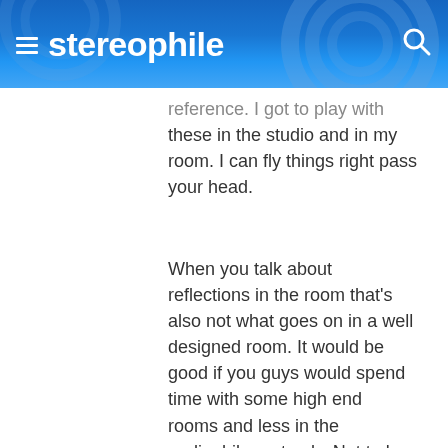stereophile
reference. I got to play with these in the studio and in my room. I can fly things right pass your head.
When you talk about reflections in the room that's also not what goes on in a well designed room. It would be good if you guys would spend time with some high end rooms and less in the audiophile part only. Not to be rude to the audiophile room guys but they lack in listening,